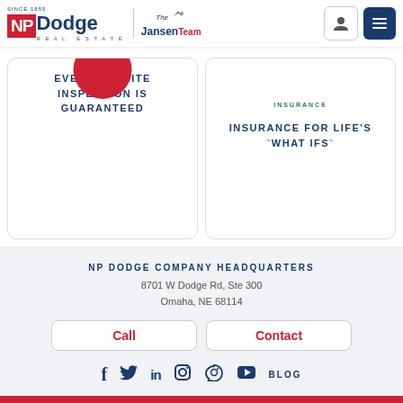NP Dodge Real Estate — The Jansen Team — Since 1855
EVERY TERMITE INSPECTION IS GUARANTEED
INSURANCE — INSURANCE FOR LIFE'S `WHAT IFS`
NP DODGE COMPANY HEADQUARTERS
8701 W Dodge Rd, Ste 300
Omaha, NE 68114
Call  Contact
f  Twitter  in  Instagram  Pinterest  YouTube  BLOG